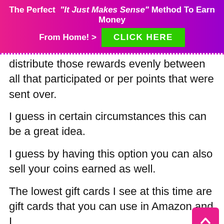The Perfect "It Just Makes Sense" Method To Earn Money From Home! > CLICK HERE
distribute those rewards evenly between all that participated or per points that were sent over.
I guess in certain circumstances this can be a great idea.
I guess by having this option you can also sell your coins earned as well.
The lowest gift cards I see at this time are gift cards that you can use in Amazon and I